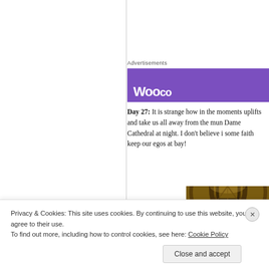Advertisements
[Figure (other): Purple WooCommerce advertisement banner with white logo text partially visible]
Day 27: It is strange how in the moments uplifts and take us all away from the mun Dame Cathedral at night. I don't believe i some faith keep our egos at bay!
[Figure (photo): Interior photograph of Notre-Dame Cathedral showing gothic arched vaulted ceiling in warm brown and amber tones]
Privacy & Cookies: This site uses cookies. By continuing to use this website, you agree to their use.
To find out more, including how to control cookies, see here: Cookie Policy
Close and accept